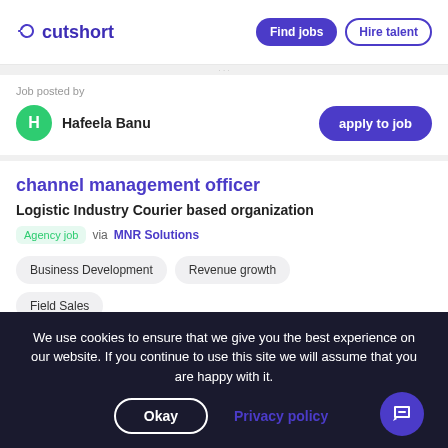cutshort | Find jobs | Hire talent
Job posted by
Hafeela Banu
channel management officer
Logistic Industry Courier based organization
Agency job via MNR Solutions
Business Development
Revenue growth
Field Sales
We use cookies to ensure that we give you the best experience on our website. If you continue to use this site we will assume that you are happy with it.